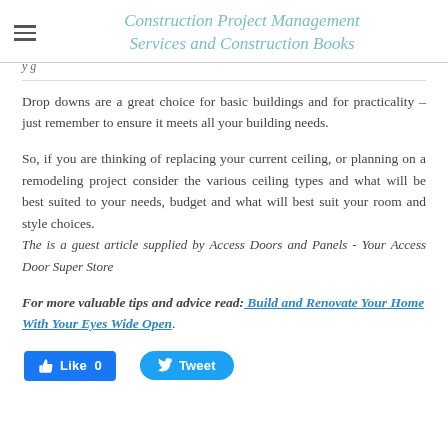Construction Project Management Services and Construction Books
Drop downs are a great choice for basic buildings and for practicality – just remember to ensure it meets all your building needs.
So, if you are thinking of replacing your current ceiling, or planning on a remodeling project consider the various ceiling types and what will be best suited to your needs, budget and what will best suit your room and style choices.
The is a guest article supplied by Access Doors and Panels - Your Access Door Super Store
For more valuable tips and advice read: Build and Renovate Your Home With Your Eyes Wide Open.
[Figure (other): Social media buttons: Like 0 (Facebook) and Tweet (Twitter)]